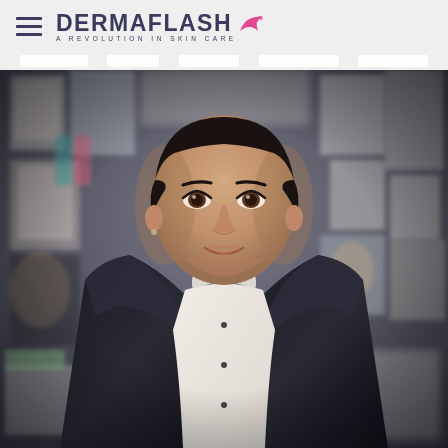DERMAFLASH · A REVOLUTION IN SKIN CARE
[Figure (photo): Professional photo of a woman with short dark hair wearing a black leather jacket and white ruffled blouse, posed in front of a mood board wall covered with various magazine clippings and photos. The Dermaflash brand logo and navigation bar appear at the top.]